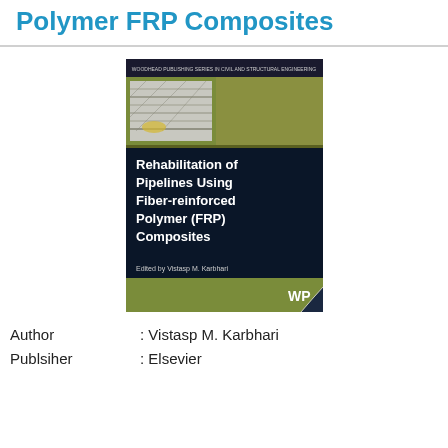Polymer FRP Composites
[Figure (photo): Book cover of 'Rehabilitation of Pipelines Using Fiber-reinforced Polymer (FRP) Composites', edited by Vistasp M. Karbhari, published by Woodhead Publishing / Elsevier. Dark navy blue cover with olive/gold accents, photo of fiber composite material being applied, WP logo at bottom right.]
Author : Vistasp M. Karbhari
Publsiher : Elsevier